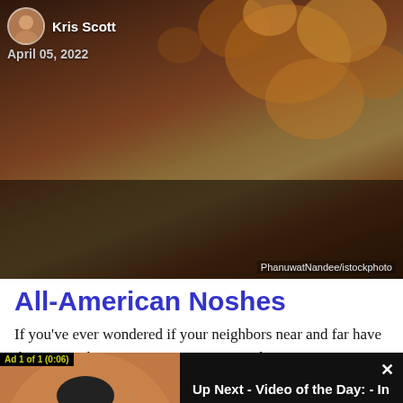[Figure (photo): Hero image of food (popcorn or similar crunchy snack) with dark warm tones, showing author avatar and byline overlay]
Kris Scott
April 05, 2022
PhanuwatNandee/istockphoto
All-American Noshes
If you've ever wondered if your neighbors near and far have the same culinary cravings as you, wonder no more. E-
[Figure (screenshot): Video player overlay showing Ad 1 of 1 (0:06) with thumbnail of blonde woman in black hat, and text: Up Next - Video of the Day: - In Her Skin With Becca Tobin]
the residents of each state and Washington, D.C. searched for most. There are predictable outcomes in the results from